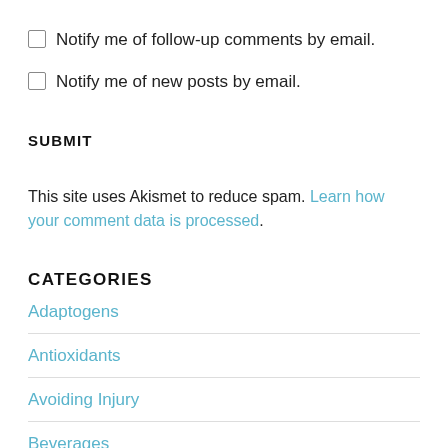Notify me of follow-up comments by email.
Notify me of new posts by email.
SUBMIT
This site uses Akismet to reduce spam. Learn how your comment data is processed.
CATEGORIES
Adaptogens
Antioxidants
Avoiding Injury
Beverages